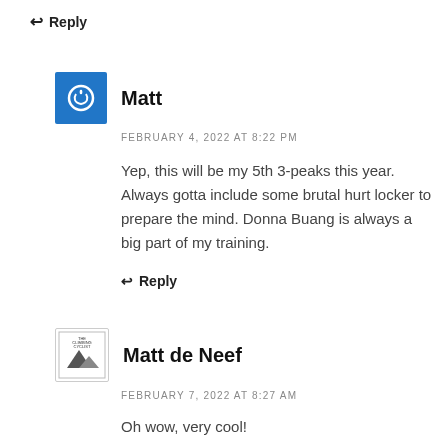↩ Reply
Matt
FEBRUARY 4, 2022 AT 8:22 PM
Yep, this will be my 5th 3-peaks this year. Always gotta include some brutal hurt locker to prepare the mind. Donna Buang is always a big part of my training.
↩ Reply
Matt de Neef
FEBRUARY 7, 2022 AT 8:27 AM
Oh wow, very cool!